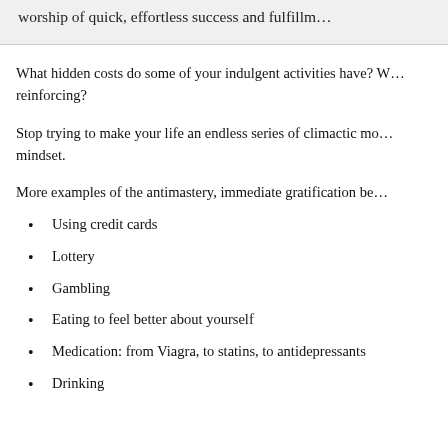worship of quick, effortless success and fulfillm…
What hidden costs do some of your indulgent activities have? W… reinforcing?
Stop trying to make your life an endless series of climactic mo… mindset.
More examples of the antimastery, immediate gratification be…
Using credit cards
Lottery
Gambling
Eating to feel better about yourself
Medication: from Viagra, to statins, to antidepressants
Drinking